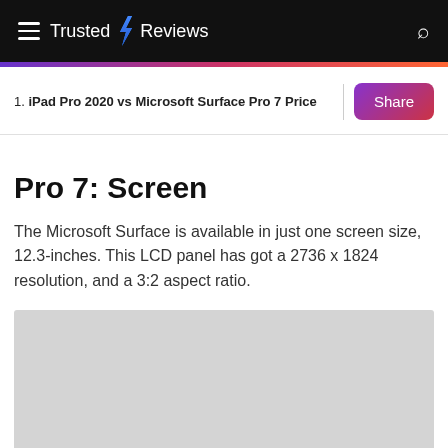Trusted Reviews
1. iPad Pro 2020 vs Microsoft Surface Pro 7 Price
Pro 7: Screen
The Microsoft Surface is available in just one screen size, 12.3-inches. This LCD panel has got a 2736 x 1824 resolution, and a 3:2 aspect ratio.
[Figure (photo): Gray placeholder image block]